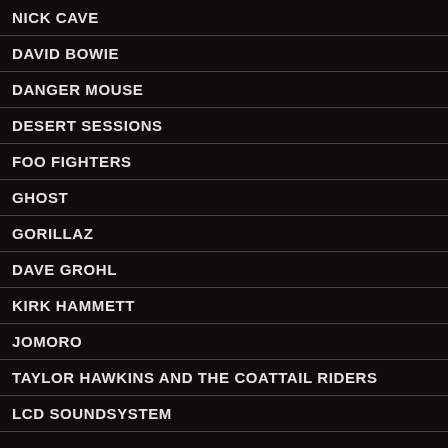NICK CAVE
DAVID BOWIE
DANGER MOUSE
DESERT SESSIONS
FOO FIGHTERS
GHOST
GORILLAZ
DAVE GROHL
KIRK HAMMETT
JOMORO
TAYLOR HAWKINS AND THE COATTAIL RIDERS
LCD SOUNDSYSTEM